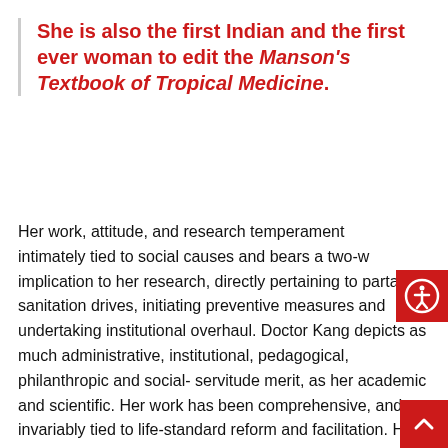She is also the first Indian and the first ever woman to edit the Manson's Textbook of Tropical Medicine.
Her work, attitude, and research temperament intimately tied to social causes and bears a two-w implication to her research, directly pertaining to partaking sanitation drives, initiating preventive measures and undertaking institutional overhaul. Doctor Kang depicts as much administrative, institutional, pedagogical, philanthropic and social-servitude merit, as her academic and scientific. Her work has been comprehensive, and invariably tied to life-standard reform and facilitation. Her research has proved immensely utilitarian, in addition to pinpointing, revising and rewriting causatives. Her